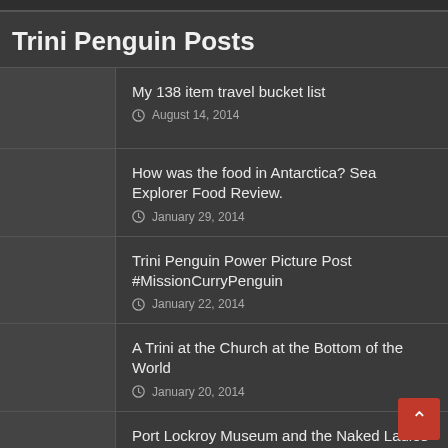Trini Penguin Posts
Trini Penguin Posts
My 138 item travel bucket list
August 14, 2014
How was the food in Antarctica? Sea Explorer Food Review.
January 29, 2014
Trini Penguin Power Picture Post #MissionCurryPenguin
January 22, 2014
A Trini at the Church at the Bottom of the World
January 20, 2014
Port Lockroy Museum and the Naked Ladies
January 16, 2014